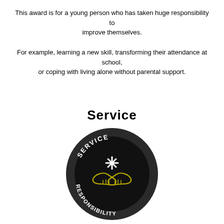This award is for a young person who has taken huge responsibility to improve themselves.
For example, learning a new skill, transforming their attendance at school, or coping with living alone without parental support.
Service
[Figure (illustration): Circular badge/emblem with dark background. Text 'SERVICE' arcs across the top and 'RESPONSIBILITY' arcs across the bottom in white bold lettering. Center shows a handshake graphic with a white asterisk/spark above it, outlined in yellow/olive on a black background.]